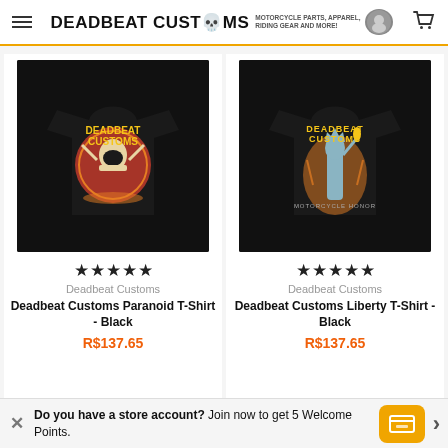DEADBEAT CUSTOMS MOTORCYCLE PARTS, APPAREL, RIDING GEAR AND MORE!
[Figure (photo): Black t-shirt with Deadbeat Customs skull/biker graphic on back]
★★★★★
Deadbeat Customs
Deadbeat Customs Paranoid T-Shirt - Black
R$137.65
[Figure (photo): Black t-shirt with Deadbeat Customs Liberty/Statue of Liberty graphic on back]
★★★★★
Deadbeat Customs
Deadbeat Customs Liberty T-Shirt - Black
R$137.65
Do you have a store account? Join now to get 5 Welcome Points.